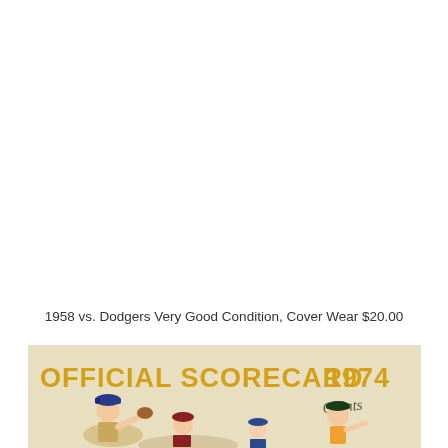1958 vs. Dodgers Very Good Condition, Cover Wear $20.00
[Figure (illustration): Cover of 1974 Official Scorecard showing illustrated baseball players, with 'OFFICIAL SCORECARD 1974' text in gold/yellow on aged paper background, with a signature in the upper right area.]